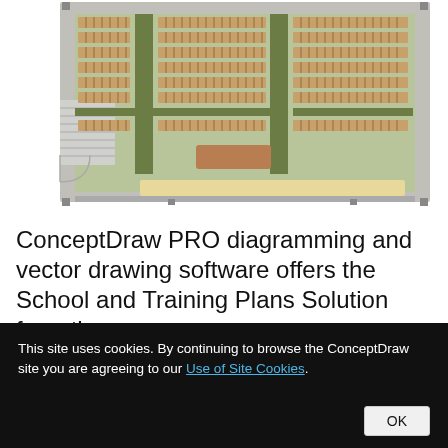[Figure (schematic): Floor plan / seating layout diagram of a school training room or auditorium, shown from above. Contains rows of tan/brown seats arranged in sections separated by green aisles, a stage or platform area at the bottom with a beige rectangle, a small podium/desk rectangle in the center-lower area, a staircase element on the left side, and gray border/walls around the perimeter.]
ConceptDraw PRO diagramming and vector drawing software offers the School and Training Plans Solution from the
This site uses cookies. By continuing to browse the ConceptDraw site you are agreeing to our Use of Site Cookies.